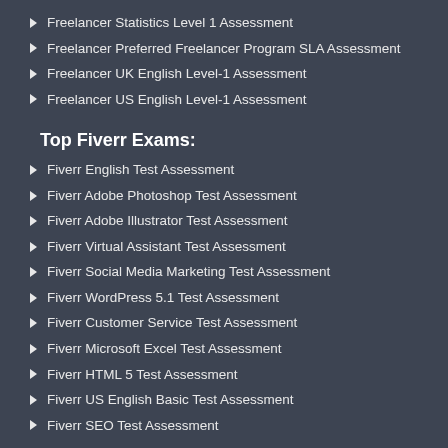Freelancer Statistics Level 1 Assessment
Freelancer Preferred Freelancer Program SLA Assessment
Freelancer UK English Level-1 Assessment
Freelancer US English Level-1 Assessment
Top Fiverr Exams:
Fiverr English Test Assessment
Fiverr Adobe Photoshop Test Assessment
Fiverr Adobe Illustrator Test Assessment
Fiverr Virtual Assistant Test Assessment
Fiverr Social Media Marketing Test Assessment
Fiverr WordPress 5.1 Test Assessment
Fiverr Customer Service Test Assessment
Fiverr Microsoft Excel Test Assessment
Fiverr HTML 5 Test Assessment
Fiverr US English Basic Test Assessment
Fiverr SEO Test Assessment